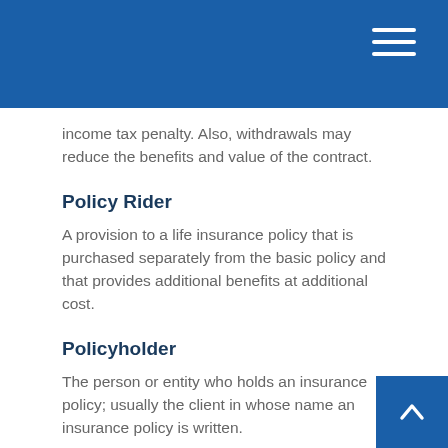income tax penalty. Also, withdrawals may reduce the benefits and value of the contract.
Policy Rider
A provision to a life insurance policy that is purchased separately from the basic policy and that provides additional benefits at additional cost.
Policyholder
The person or entity who holds an insurance policy; usually the client in whose name an insurance policy is written.
Portfolio
The combined investments of an individual investor mutual fund.